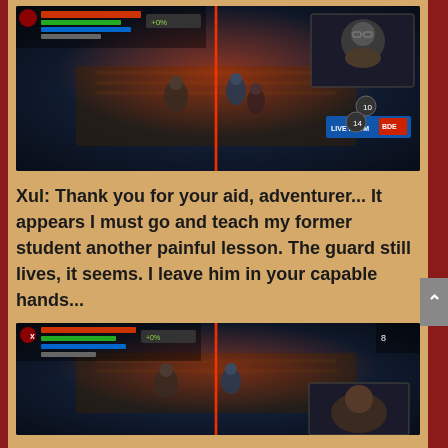[Figure (screenshot): Screenshot of a dark dungeon/RPG video game scene with isometric view, showing characters in combat with red energy beams and a player webcam overlay in top-right corner. 'LIVE FROM' text visible in bottom-right corner.]
Xul: Thank you for your aid, adventurer... It appears I must go and teach my former student another painful lesson. The guard still lives, it seems. I leave him in your capable hands...
[Figure (screenshot): Second screenshot of the same dark dungeon RPG game scene, similar isometric view with characters and red energy beams, slightly different frame.]